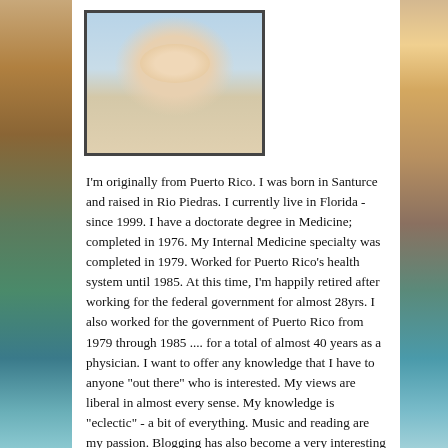[Figure (photo): Headshot photo of a smiling man, appears middle-aged, wearing light-colored shirt, photo has a dark border frame]
I'm originally from Puerto Rico. I was born in Santurce and raised in Rio Piedras. I currently live in Florida - since 1999. I have a doctorate degree in Medicine; completed in 1976. My Internal Medicine specialty was completed in 1979. Worked for Puerto Rico's health system until 1985. At this time, I'm happily retired after working for the federal government for almost 28yrs. I also worked for the government of Puerto Rico from 1979 through 1985 .... for a total of almost 40 years as a physician. I want to offer any knowledge that I have to anyone "out there" who is interested. My views are liberal in almost every sense. My knowledge is "eclectic" - a bit of everything. Music and reading are my passion. Blogging has also become a very interesting endeavor. Metaphysical topics attract me. I'm interested in news - reporting human issues like injustice, discrimination and abuse - the "wrongly" affected. My intention is to bring this knowledge to an understandable level and to help anyone in need. I'm open to questions and will answer them to the best of my ability. Currently working on an enterprise whose main mission will be to bring peoples of all